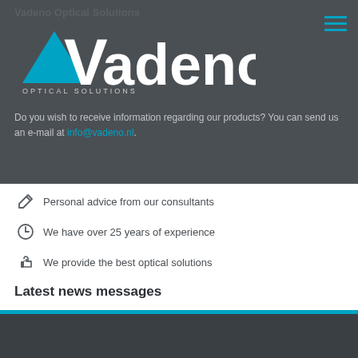Vadeno Optical Solutions
[Figure (logo): Vadeno Optical Solutions logo with blue triangle and large V, text OPTICAL SOLUTIONS below]
Do you wish to receive information regarding our products? You can send us an e-mail at info@vadeno.nl.
Personal advice from our consultants
We have over 25 years of experience
We provide the best optical solutions
Latest news messages